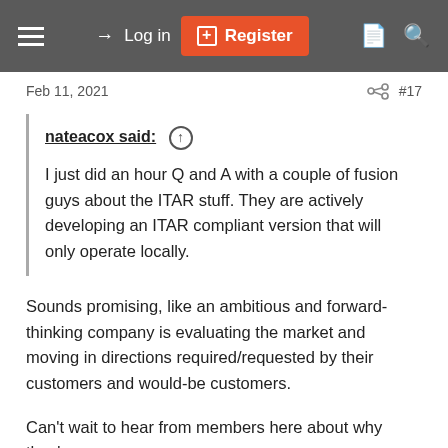Log in | Register
Feb 11, 2021 #17
nateacox said: ↑

I just did an hour Q and A with a couple of fusion guys about the ITAR stuff. They are actively developing an ITAR compliant version that will only operate locally.
Sounds promising, like an ambitious and forward-thinking company is evaluating the market and moving in directions required/requested by their customers and would-be customers.
Can't wait to hear from members here about why they're